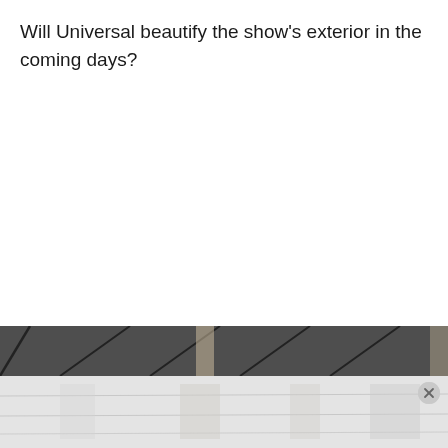Will Universal beautify the show's exterior in the coming days?
[Figure (photo): Partial view of a building exterior, showing a dark roof/overhang structure with diagonal beams at top, and a lighter lower section with reflective surfaces; a close/dismiss button is visible in the lower right corner.]